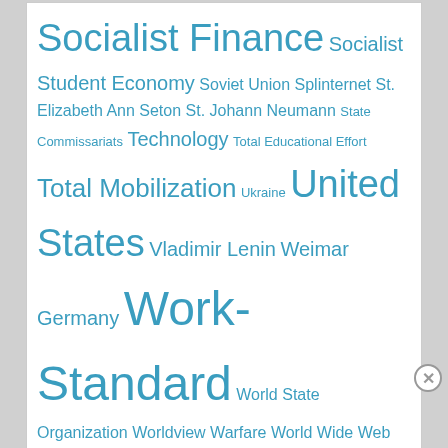Socialist Finance Socialist Student Economy Soviet Union Splinternet St. Elizabeth Ann Seton St. Johann Neumann State Commissariats Technology Total Educational Effort Total Mobilization Ukraine United States Vladimir Lenin Weimar Germany Work-Standard World State Organization Worldview Warfare World Wide Web
Subscribe to Blog via Email
Receive notifications of any completed Compendium entries and Blog-related posts.
Advertisements
[Figure (infographic): DuckDuckGo advertisement banner: orange left panel with text 'Search, browse, and email with more privacy. All in One Free App', dark right panel with DuckDuckGo logo and text 'DuckDuckGo']